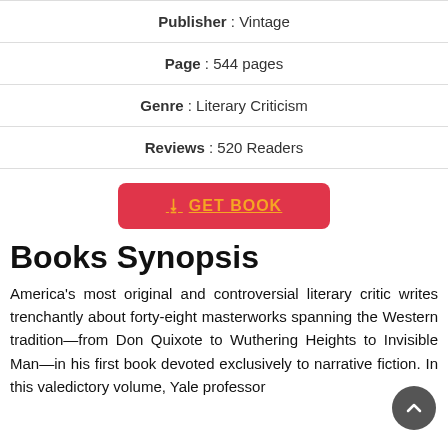| Publisher : Vintage |
| Page : 544 pages |
| Genre : Literary Criticism |
| Reviews : 520 Readers |
GET BOOK (button)
Books Synopsis
America's most original and controversial literary critic writes trenchantly about forty-eight masterworks spanning the Western tradition—from Don Quixote to Wuthering Heights to Invisible Man—in his first book devoted exclusively to narrative fiction. In this valedictory volume, Yale professor